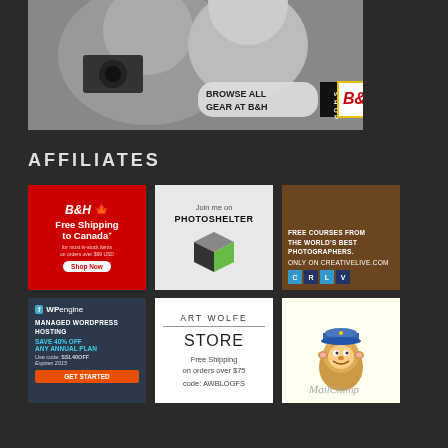[Figure (photo): B&H Photo advertisement banner showing a photographer with camera and text 'BROWSE ALL GEAR AT B&H SHOP']
AFFILIATES
[Figure (photo): B&H Canada affiliate ad - Free Shipping to Canada on orders over $99 USD]
[Figure (photo): PhotoShelter affiliate ad - Join me on Photoshelter]
[Figure (photo): CreativeLive affiliate ad - Free Courses from the World's Best Photographers]
[Figure (photo): WP Engine affiliate ad - Managed WordPress Hosting, Save 40% Off Any Annual Plan, code SSL40OFF]
[Figure (photo): Art Wolfe Store affiliate ad - Free Shipping on orders over $75, code AWBLOGFS]
[Figure (logo): MailChimp affiliate logo with monkey mascot]